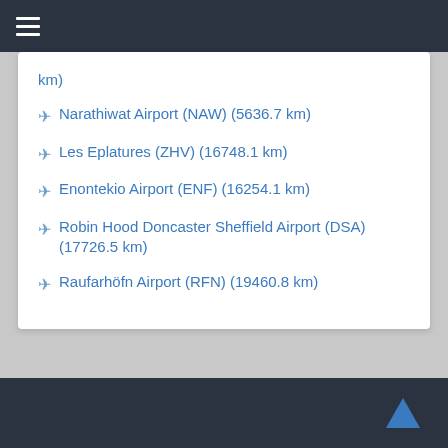≡
km)
✈ Narathiwat Airport (NAW) (5636.7 km)
✈ Les Eplatures (ZHV) (16748.1 km)
✈ Enontekio Airport (ENF) (16254.1 km)
✈ Robin Hood Doncaster Sheffield Airport (DSA) (17726.5 km)
✈ Raufarhöfn Airport (RFN) (19460.8 km)
▲